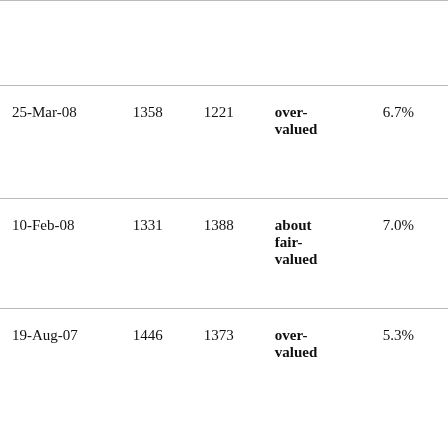|  |  |  |  |  |
| 25-Mar-08 | 1358 | 1221 | over-valued | 6.7% |
| 10-Feb-08 | 1331 | 1388 | about fair-valued | 7.0% |
| 19-Aug-07 | 1446 | 1373 | over-valued | 5.3% |